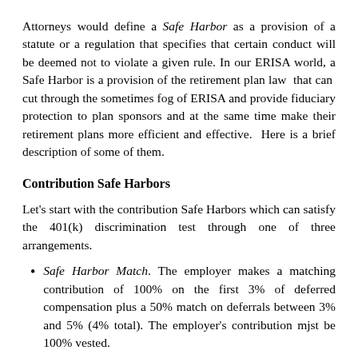Attorneys would define a Safe Harbor as a provision of a statute or a regulation that specifies that certain conduct will be deemed not to violate a given rule. In our ERISA world, a Safe Harbor is a provision of the retirement plan law that can cut through the sometimes fog of ERISA and provide fiduciary protection to plan sponsors and at the same time make their retirement plans more efficient and effective. Here is a brief description of some of them.
Contribution Safe Harbors
Let's start with the contribution Safe Harbors which can satisfy the 401(k) discrimination test through one of three arrangements.
Safe Harbor Match. The employer makes a matching contribution of 100% on the first 3% of deferred compensation plus a 50% match on deferrals between 3% and 5% (4% total). The employer's contribution mjst be 100% vested.